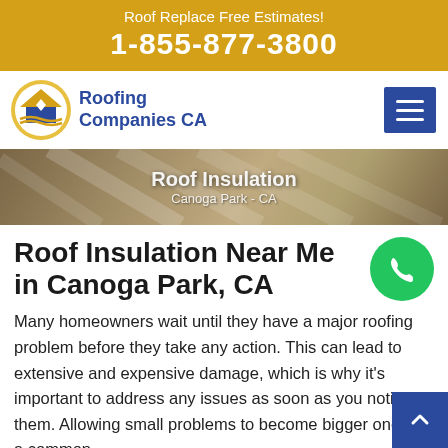Roof Replace Free Estimates! 1-855-877-3800
[Figure (logo): Roofing Companies CA logo with house roof icon in gold/blue circle and blue text]
[Figure (photo): Roof insulation photo with overlay text: Roof Insulation, Canoga Park - CA]
Roof Insulation Near Me in Canoga Park, CA
Many homeowners wait until they have a major roofing problem before they take any action. This can lead to extensive and expensive damage, which is why it's important to address any issues as soon as you notice them. Allowing small problems to become bigger ones is a common